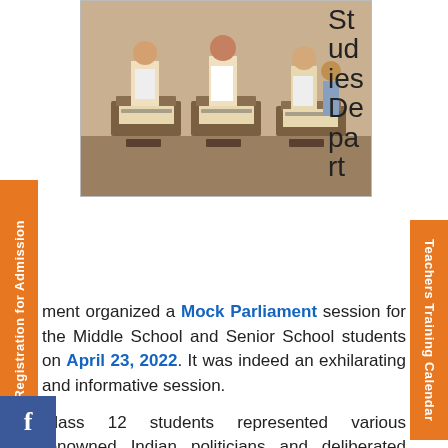[Figure (photo): Photo of a mock parliament session with students sitting at desks on a stage]
Studies Department organized a Mock Parliament session for the Middle School and Senior School students on April 23, 2022. It was indeed an exhilarating and informative session.
Class 12 students represented various renowned Indian politicians and deliberated upon the agenda- 'Discussing the taxation policy and government charges on Crude Oil with special emphasis on a subsequent spike in Diesel and Petrol prices.' Our respected